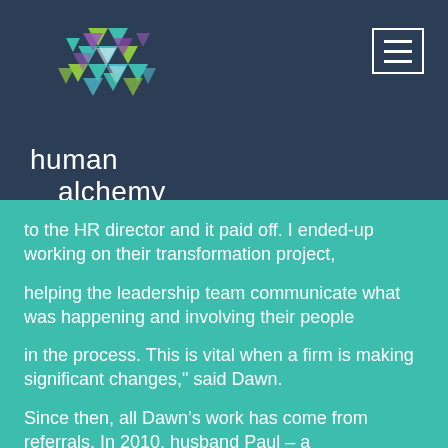[Figure (logo): Human Alchemy logo: colorful geometric mosaic forming a human head silhouette, with text 'human alchemy' below in white on dark navy background]
to the HR director and it paid off. I ended-up working on their transformation project,
helping the leadership team communicate what was happening and involving their people
in the process. This is vital when a firm is making significant changes," said Dawn.
Since then, all Dawn's work has come from referrals. In 2010, husband Paul – a
well-known Lincoln businessman who had been working as Chief Executive for the world